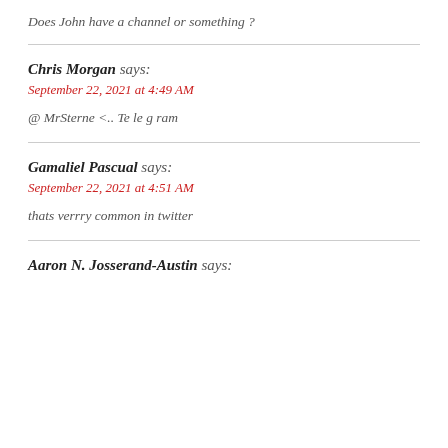Does John have a channel or something ?
Chris Morgan says:
September 22, 2021 at 4:49 AM
@ MrSterne <.. Te le g ram
Gamaliel Pascual says:
September 22, 2021 at 4:51 AM
thats verrry common in twitter
Aaron N. Josserand-Austin says: